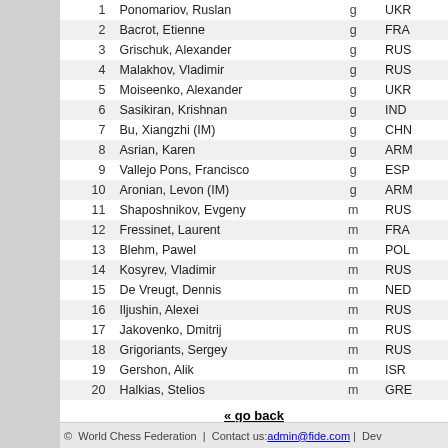| # | Name | Title | Country |
| --- | --- | --- | --- |
| 1 | Ponomariov, Ruslan | g | UKR |
| 2 | Bacrot, Etienne | g | FRA |
| 3 | Grischuk, Alexander | g | RUS |
| 4 | Malakhov, Vladimir | g | RUS |
| 5 | Moiseenko, Alexander | g | UKR |
| 6 | Sasikiran, Krishnan | g | IND |
| 7 | Bu, Xiangzhi (IM) | g | CHN |
| 8 | Asrian, Karen | g | ARM |
| 9 | Vallejo Pons, Francisco | g | ESP |
| 10 | Aronian, Levon (IM) | g | ARM |
| 11 | Shaposhnikov, Evgeny | m | RUS |
| 12 | Fressinet, Laurent | m | FRA |
| 13 | Blehm, Pawel | m | POL |
| 14 | Kosyrev, Vladimir | m | RUS |
| 15 | De Vreugt, Dennis | m | NED |
| 16 | Iljushin, Alexei | m | RUS |
| 17 | Jakovenko, Dmitrij | m | RUS |
| 18 | Grigoriants, Sergey | m | RUS |
| 19 | Gershon, Alik | m | ISR |
| 20 | Halkias, Stelios | m | GRE |
« go back
© World Chess Federation | Contact us: admin@fide.com | Dev